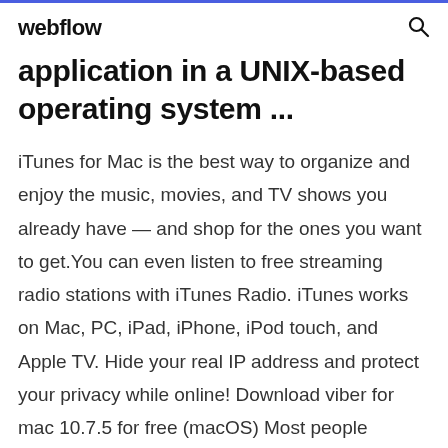webflow
application in a UNIX-based operating system ...
iTunes for Mac is the best way to organize and enjoy the music, movies, and TV shows you already have — and shop for the ones you want to get.You can even listen to free streaming radio stations with iTunes Radio. iTunes works on Mac, PC, iPad, iPhone, iPod touch, and Apple TV. Hide your real IP address and protect your privacy while online! Download viber for mac 10.7.5 for free (macOS) Most people looking for Viber for mac 10.7.5 downloaded: ... Viber for Mac lets you send free messages and make free calls to other Viber users, on any device and